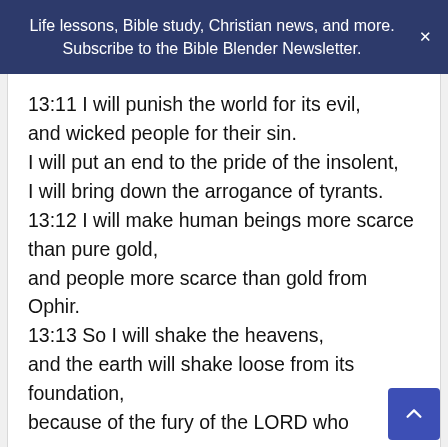Life lessons, Bible study, Christian news, and more. Subscribe to the Bible Blender Newsletter.
13:11 I will punish the world for its evil, and wicked people for their sin. I will put an end to the pride of the insolent, I will bring down the arrogance of tyrants. 13:12 I will make human beings more scarce than pure gold, and people more scarce than gold from Ophir. 13:13 So I will shake the heavens, and the earth will shake loose from its foundation, because of the fury of the LORD who